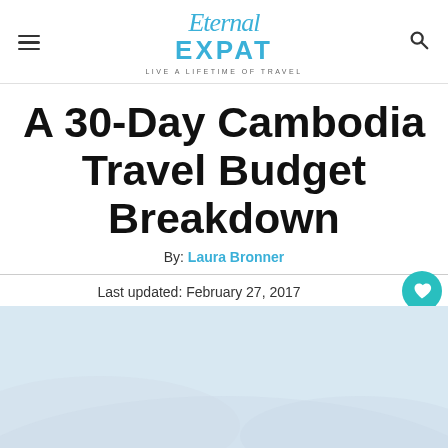Eternal Expat — LIVE A LIFETIME OF TRAVEL
A 30-Day Cambodia Travel Budget Breakdown
By: Laura Bronner
Last updated: February 27, 2017
[Figure (photo): Light blue/grey sky and landscape background photo, partially visible at bottom of page]